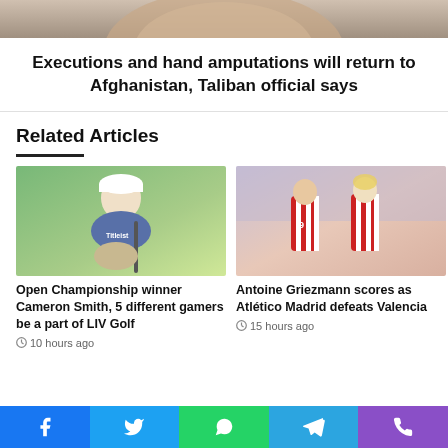[Figure (photo): Top portion of a person's face, close-up photo]
Executions and hand amputations will return to Afghanistan, Taliban official says
Related Articles
[Figure (photo): Golfer Cameron Smith crouching on green holding a golf club, wearing a white Titleist cap and blue patterned polo shirt]
Open Championship winner Cameron Smith, 5 different gamers be a part of LIV Golf
10 hours ago
[Figure (photo): Antoine Griezmann and Atletico Madrid teammates in red and white striped jerseys celebrating on soccer field with crowd in background]
Antoine Griezmann scores as Atlético Madrid defeats Valencia
15 hours ago